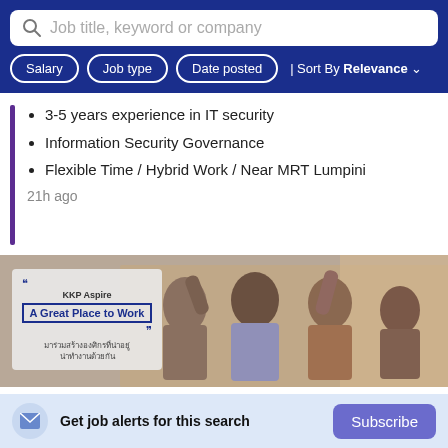Job title, keyword or company
Salary
Job type
Date posted
Sort By Relevance
3-5 years experience in IT security
Information Security Governance
Flexible Time / Hybrid Work / Near MRT Lumpini
21h ago
[Figure (photo): Office celebration photo with KKP Aspire overlay card reading 'A Great Place to Work' with Thai text below]
Get job alerts for this search
Subscribe